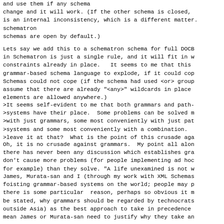and use them if any schema change and it will work. (If the other schema is closed, is an internal inconsistency, which is a different matter. schematron
schemas are open by default.)
Lets say we add this to a schematron schema for full DOCB in Schematron is just a single rule, and it will fit in w constraints already in place.  It seems to me that this grammar-based schema language to explode, if it could cop Schemas could not cope (if the schema had used <or> group assume that there are already "<any>" wildcards in place elements are allowed anywhere.)
>It seems self-evident to me that both grammars and path-
>systems have their place.  Some problems can be solved m
>with just grammars, some most conveniently with just pat
>systems and some most conveniently with a combination.
>leave it at that?  What is the point of this crusade aga
Oh, it is no crusade against grammars.  My point all alon there has never been any discussion which establishes gra don't cause more problems (for people implementing ad hoc for example) than they solve. "A life unexamined is not w
James, Murata-san and I (through my work with XML Schemas foisting grammar-based systems on the world; people may p there is some particular  reason, perhaps so obvious it m be stated, why grammars should be regarded by technocrats outside Asia) as the best approach to take in precedence mean James or Murata-san need to justify why they take an